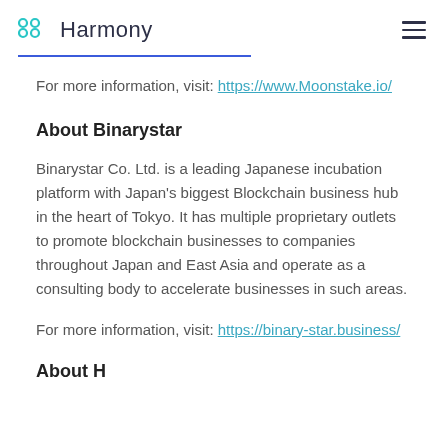Harmony
For more information, visit: https://www.Moonstake.io/
About Binarystar
Binarystar Co. Ltd. is a leading Japanese incubation platform with Japan's biggest Blockchain business hub in the heart of Tokyo. It has multiple proprietary outlets to promote blockchain businesses to companies throughout Japan and East Asia and operate as a consulting body to accelerate businesses in such areas.
For more information, visit: https://binary-star.business/
About H...